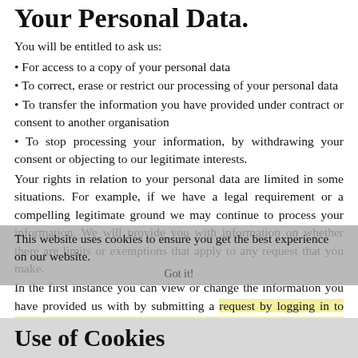Your Personal Data.
You will be entitled to ask us:
• For access to a copy of your personal data
• To correct, erase or restrict our processing of your personal data
• To transfer the information you have provided under contract or consent to another organisation
• To stop processing your information, by withdrawing your consent or objecting to our legitimate interests.
Your rights in relation to your personal data are limited in some situations. For example, if we have a legal requirement or a compelling legitimate ground we may continue to process your information. We will provide you with information on whether there are limits or exemptions that apply to any request that you make.
In the first instance you can view or change the information you have provided us with by submitting a request by logging in to your online account and sending us a message on the Contact Us form.
Use of Cookies